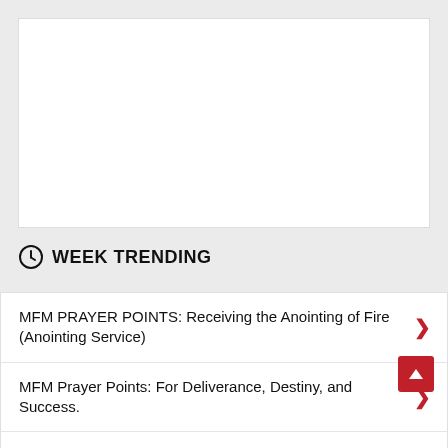[Figure (other): White rectangular advertisement or image placeholder box]
WEEK TRENDING
MFM PRAYER POINTS: Receiving the Anointing of Fire (Anointing Service)
MFM Prayer Points: For Deliverance, Destiny, and Success.
MFM PRAYER POINTS: ARRESTING THE ARRESTERS